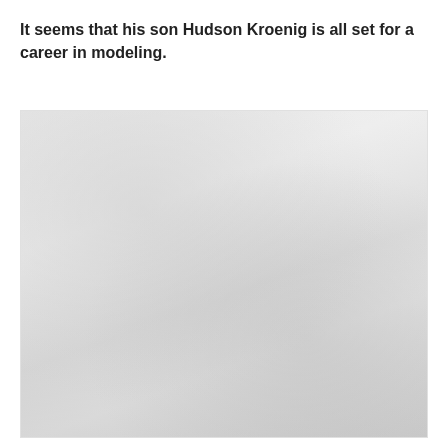It seems that his son Hudson Kroenig is all set for a career in modeling.
[Figure (photo): A faded/washed-out photograph, appears to show people, likely related to Hudson Kroenig modeling context.]